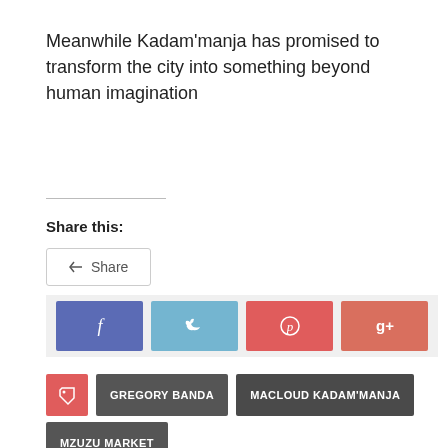Meanwhile Kadam'manja has promised to transform the city into something beyond human imagination
Share this:
[Figure (infographic): Share button with arrow icon and 'Share' text inside a bordered box]
[Figure (infographic): Social media share buttons: Facebook (f), Twitter (bird), Pinterest (p), Google+ (g+)]
GREGORY BANDA
MACLOUD KADAM'MANJA
MZUZU MARKET
PREVIOUS ARTICLE
NEXT ARTICLE